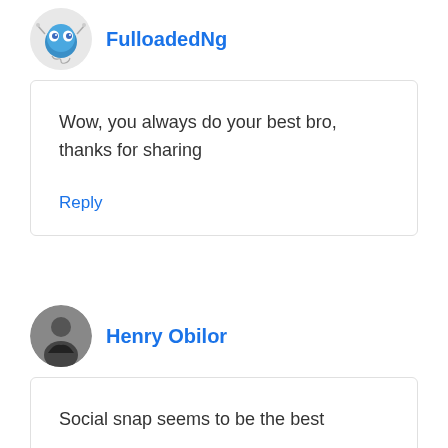[Figure (illustration): Circular avatar icon for FulloadedNg — cartoon blue globe/robot character with eyes]
FulloadedNg
Wow, you always do your best bro, thanks for sharing
Reply
[Figure (photo): Circular profile photo of Henry Obilor — young man in dark jacket against gray background]
Henry Obilor
Social snap seems to be the best